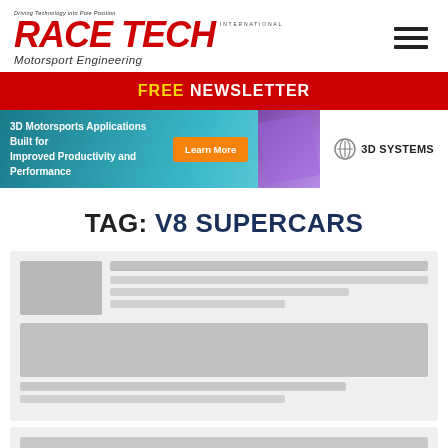RACE TECH INTERNATIONAL — Motorsport Engineering
FREE NEWSLETTER
[Figure (infographic): 3D Systems advertisement banner: '3D Motorsports Applications Built for Improved Productivity and Performance' with Learn More button and 3D SYSTEMS logo]
TAG: V8 SUPERCARS
[Figure (infographic): Content cards placeholder area showing blurred article thumbnails and text snippets related to V8 Supercars tag page]